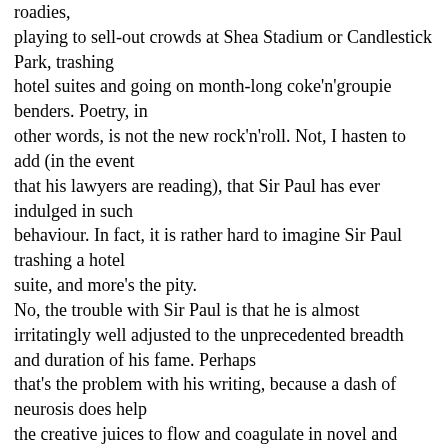roadies, playing to sell-out crowds at Shea Stadium or Candlestick Park, trashing hotel suites and going on month-long coke'n'groupie benders. Poetry, in other words, is not the new rock'n'roll. Not, I hasten to add (in the event that his lawyers are reading), that Sir Paul has ever indulged in such behaviour. In fact, it is rather hard to imagine Sir Paul trashing a hotel suite, and more's the pity. No, the trouble with Sir Paul is that he is almost irritatingly well adjusted to the unprecedented breadth and duration of his fame. Perhaps that's the problem with his writing, because a dash of neurosis does help the creative juices to flow and coagulate in novel and interesting ways. And it is impossible to read even the best of Sir Paul's songs as poems - that is, free of the phrasing used in the singing and shorn of their melodic context. The poems themselves betray no sense of an internal rhythmic life that provides the music of poetry. It is clear that Sir Paul